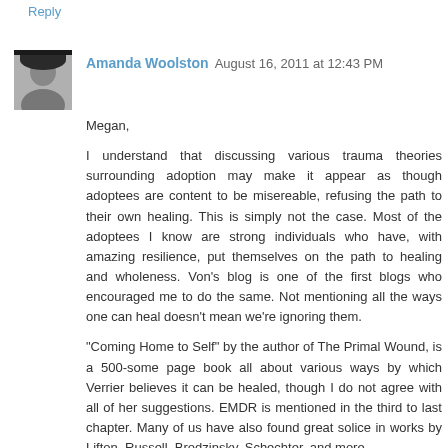Reply
Amanda Woolston  August 16, 2011 at 12:43 PM
Megan,
I understand that discussing various trauma theories surrounding adoption may make it appear as though adoptees are content to be misereable, refusing the path to their own healing. This is simply not the case. Most of the adoptees I know are strong individuals who have, with amazing resilience, put themselves on the path to healing and wholeness. Von's blog is one of the first blogs who encouraged me to do the same. Not mentioning all the ways one can heal doesn't mean we're ignoring them.
"Coming Home to Self" by the author of The Primal Wound, is a 500-some page book all about various ways by which Verrier believes it can be healed, though I do not agree with all of her suggestions. EMDR is mentioned in the third to last chapter. Many of us have also found great solice in works by Lifton, Russell, Brodzinsky, Schechter, and more.